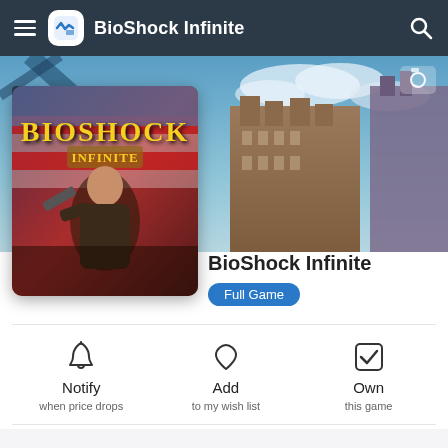BioShock Infinite
[Figure (screenshot): BioShock Infinite game cover art showing protagonist with weapon against American flag background with fire, overlaid on a hero image of the floating city Columbia skyline]
BioShock Infinite
Full Game
Notify when price drops
Add to my wish list
Own this game
Buy at PlayStation Store $19.99